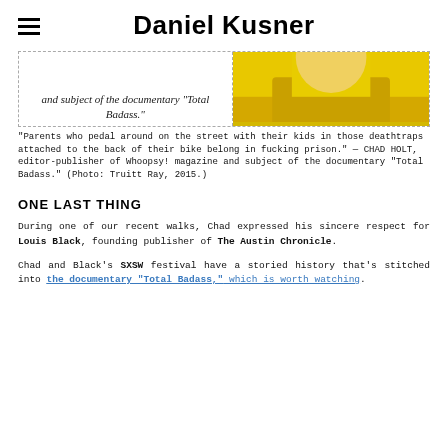Daniel Kusner
[Figure (photo): Partial view of italic text quote and a photo showing a yellow jacket/collar area]
"Parents who pedal around on the street with their kids in those deathtraps attached to the back of their bike belong in fucking prison." — CHAD HOLT, editor-publisher of Whoopsy! magazine and subject of the documentary "Total Badass." (Photo: Truitt Ray, 2015.)
ONE LAST THING
During one of our recent walks, Chad expressed his sincere respect for Louis Black, founding publisher of The Austin Chronicle.
Chad and Black's SXSW festival have a storied history that's stitched into the documentary "Total Badass," which is worth watching.